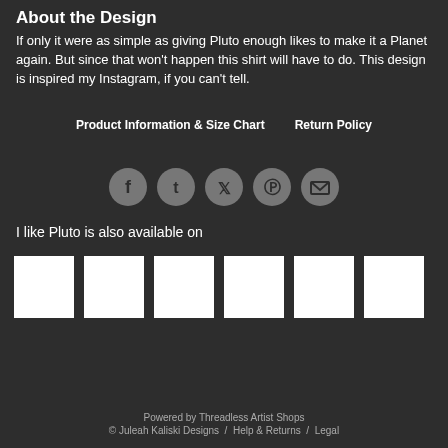About the Design
If only it were as simple as giving Pluto enough likes to make it a Planet again. But since that won't happen this shirt will have to do. This design is inspired my Instagram, if you can't tell.
Product Information & Size Chart    Return Policy
[Figure (infographic): Row of 5 social media icon buttons (Facebook, Tumblr, Twitter, Pinterest, Email) displayed as dark circular icons on a dark background]
I like Pluto is also available on
[Figure (infographic): Row of 6 white product thumbnail images showing available product types]
Powered by Threadless Artist Shops
© Juleah Kaliski Designs / Help & Returns / Legal